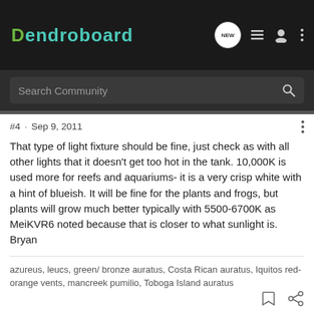Dendroboard
Search Community
#4 · Sep 9, 2011
That type of light fixture should be fine, just check as with all other lights that it doesn't get too hot in the tank. 10,000K is used more for reefs and aquariums- it is a very crisp white with a hint of blueish. It will be fine for the plants and frogs, but plants will grow much better typically with 5500-6700K as MeiKVR6 noted because that is closer to what sunlight is. Bryan
azureus, leucs, green/ bronze auratus, Costa Rican auratus, Iquitos red-orange vents, mancreek pumilio, Toboga Island auratus